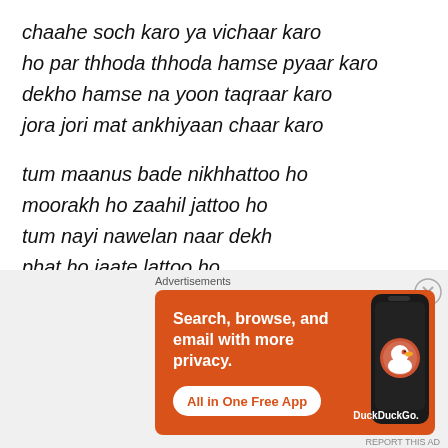chaahe soch karo ya vichaar karo
ho par thhoda thhoda hamse pyaar karo
dekho hamse na yoon taqraar karo
jora jori mat ankhiyaan chaar karo
tum maanus bade nikhhattoo ho
moorakh ho zaahil jattoo ho
tum nayi nawelan naar dekh
phat ho jaate lattoo ho
arre kuchh samjhe
bilkul nahin
Advertisements
[Figure (other): DuckDuckGo advertisement banner with orange background. Text: 'Search, browse, and email with more privacy. All in One Free App'. Shows a smartphone with DuckDuckGo logo.]